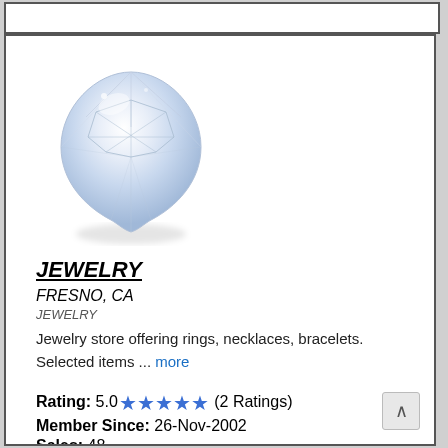[Figure (photo): A pear-shaped diamond gemstone photographed against a white background, showing facets and brilliance.]
JEWELRY
FRESNO, CA
JEWELRY
Jewelry store offering rings, necklaces, bracelets. Selected items ... more
Rating: 5.0 ★★★★★ (2 Ratings)
Member Since: 26-Nov-2002
Sales: 48